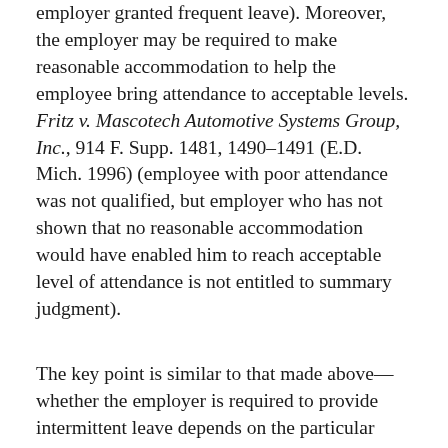employer granted frequent leave). Moreover, the employer may be required to make reasonable accommodation to help the employee bring attendance to acceptable levels. Fritz v. Mascotech Automotive Systems Group, Inc., 914 F. Supp. 1481, 1490–1491 (E.D. Mich. 1996) (employee with poor attendance was not qualified, but employer who has not shown that no reasonable accommodation would have enabled him to reach acceptable level of attendance is not entitled to summary judgment).
The key point is similar to that made above—whether the employer is required to provide intermittent leave depends on the particular evidence, analyzed under the ADA's undue hardship defense.17 The EEOC's Performance and Misconduct Guidance may have fostered some confusion in this area as well, in much the